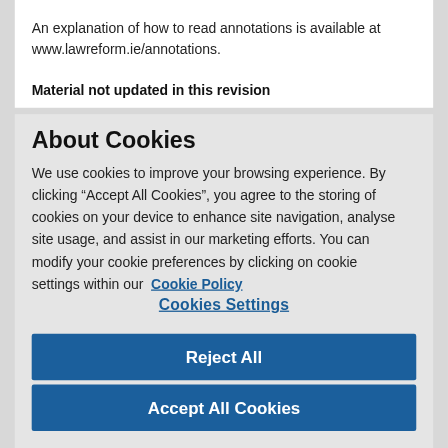An explanation of how to read annotations is available at www.lawreform.ie/annotations.
Material not updated in this revision
About Cookies
We use cookies to improve your browsing experience. By clicking “Accept All Cookies”, you agree to the storing of cookies on your device to enhance site navigation, analyse site usage, and assist in our marketing efforts. You can modify your cookie preferences by clicking on cookie settings within our  Cookie Policy
Cookies Settings
Reject All
Accept All Cookies